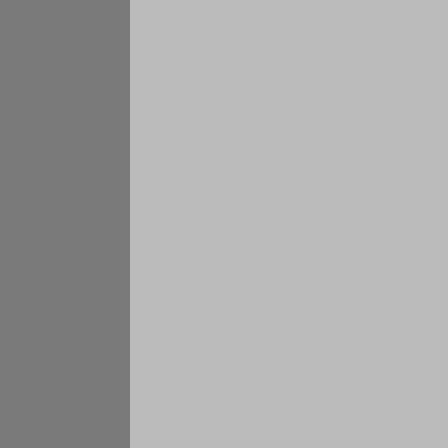gave weight to testimony about a malfunctioning PASS, Martin needed to be: Several firefighters worked, he would have been able to have left sooner. (This is about the PASS, there was testimony about making him difficult to find in smoke and he was not wearing a... approved jury instructions... evidence" that the PASS... Martin, the case was probably... several things at play here... facts, but sustaining such... weak (but approved) sta...
POSTED BY KEVIN COUC...
Post the first comment
Tags: Missouri